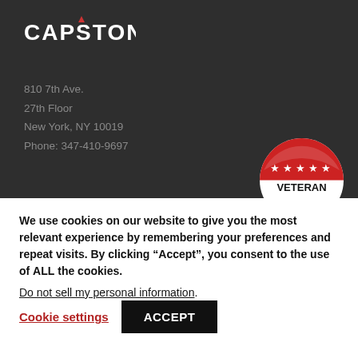[Figure (logo): Capstone logo in white text on dark background with red triangle accent above the letter A]
810 7th Ave.
27th Floor
New York, NY 10019
Phone: 347-410-9697
[Figure (other): Veteran Owned Business circular badge with red top half showing five white stars and white bottom half with black text VETERAN OWNED BUSINESS]
We use cookies on our website to give you the most relevant experience by remembering your preferences and repeat visits. By clicking “Accept”, you consent to the use of ALL the cookies.
Do not sell my personal information.
Cookie settings
ACCEPT